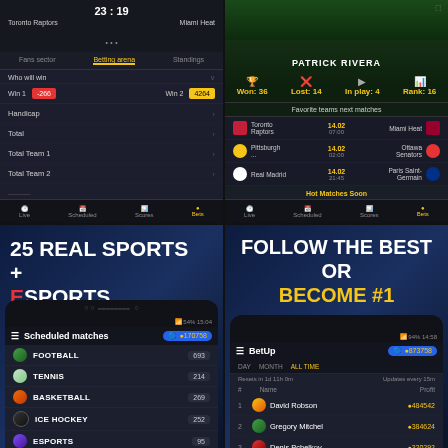[Figure (screenshot): Mobile app screenshot showing betting arena for Toronto Raptors vs Miami Heat game with timer 23:19, betting options including Who will win (Win 1: -266, Win 2: +4264), Handicap, Total, Total Team 1, Total Team 2, with navigation tabs: Fans sector, Betting arena, Standings]
[Figure (screenshot): Mobile app screenshot showing user profile for Patrick Rivera with stats Won: 36, Lost: 14, In play: 4, Rank: 16. Favorite teams next matches: Toronto Raptors vs Miami Heat 14.02 07:00, Pittsburgh vs Ottawa Senators 14.02 02:00, Real Madrid vs Paris Saint-Germain 14.02 21:45. Hot Matches Soon section at bottom.]
[Figure (screenshot): Mobile app screenshot with text '25 REAL SPORTS + ESPORTS' overlaid on stadium background, showing Scheduled matches screen with sports: FOOTBALL 693, TENNIS 214, BASKETBALL 269, ICE HOCKEY 252, ESPORTS 95, HANDBALL 79, VOLLEYBALL 47, BADMINTON (cut off). Coin balance shown as 170758.]
[Figure (screenshot): Mobile app screenshot with text 'FOLLOW THE BEST OR BECOME #1' overlaid on stadium background (BECOME #1 in yellow). Shows BetUp leaderboard screen with DAY/MONTH/ALL TIME tabs, Resets in 1d 11h 0m, Updates every 15m. Players: David Robson 484542, Gregory Mitchel 384624, Denis Pchelkov 320292, Павел 294673, Ivan Vorasov 256455. Coin balance 873758.]